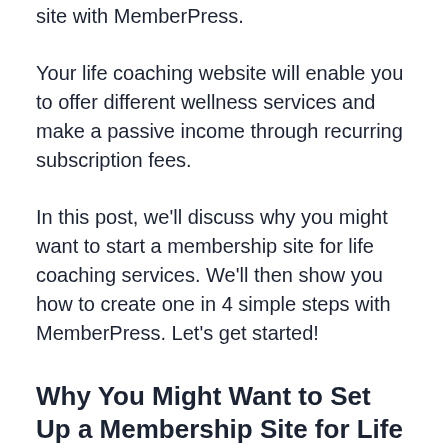site with MemberPress.
Your life coaching website will enable you to offer different wellness services and make a passive income through recurring subscription fees.
In this post, we’ll discuss why you might want to start a membership site for life coaching services. We’ll then show you how to create one in 4 simple steps with MemberPress. Let’s get started!
Why You Might Want to Set Up a Membership Site for Life Coaching Services